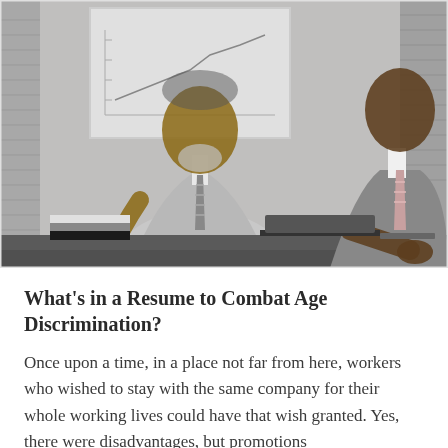[Figure (photo): Two businessmen in suits sitting at a desk in a meeting. One older man with grey beard in a light grey suit holds a pen over documents. A second man in a darker suit is partially visible on the right. A whiteboard with a chart is visible in the background.]
What's in a Resume to Combat Age Discrimination?
Once upon a time, in a place not far from here, workers who wished to stay with the same company for their whole working lives could have that wish granted. Yes, there were disadvantages, but promotions